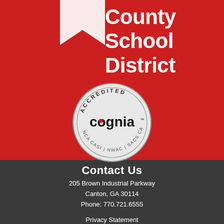[Figure (logo): Cherokee County School District logo with red background, white arrow/bookmark shape and partial text 'County School District']
County
School
District
[Figure (logo): Cognia accreditation seal - circular badge reading ACCREDITED cognia NCA CASI | NWAC | SACS CASI]
Contact Us
205 Brown Industrial Parkway
Canton, GA 30114
Phone: 770.721.6555
Privacy Statement